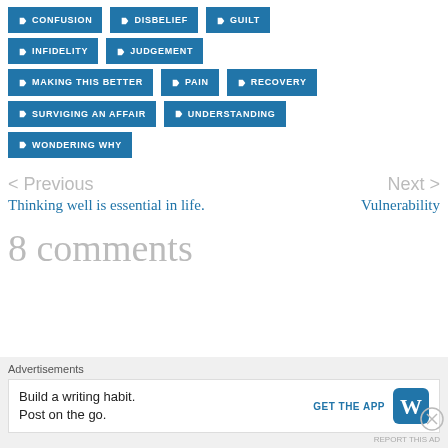CONFUSION
DISBELIEF
GUILT
INFIDELITY
JUDGEMENT
MAKING THIS BETTER
PAIN
RECOVERY
SURVIGING AN AFFAIR
UNDERSTANDING
WONDERING WHY
< Previous
Thinking well is essential in life.
Next >
Vulnerability
8 comments
Advertisements
Build a writing habit. Post on the go.
GET THE APP
REPORT THIS AD